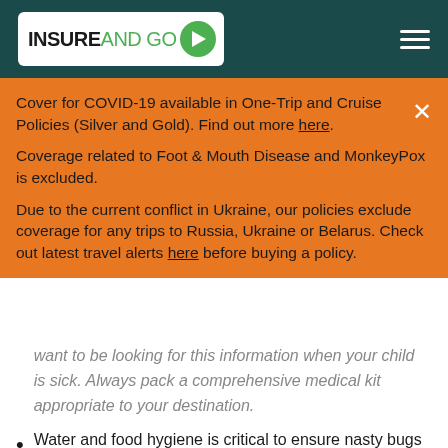INSUREANDGO [logo with arrow]
Cover for COVID-19 available in One-Trip and Cruise Policies (Silver and Gold). Find out more here.
Coverage related to Foot & Mouth Disease and MonkeyPox is excluded.
Due to the current conflict in Ukraine, our policies exclude coverage for any trips to Russia, Ukraine or Belarus. Check out latest travel alerts here before buying a policy.
want to be looking for this information when your child is sick. Always pack a comprehensive medical kit appropriate to your destination.
Water and food hygiene is critical to ensure nasty bugs do not ruin your holiday. Always take care, drink bottled water if you are unsure and use common sense with foods you buy. Also use an antibacterial spray to kill germs in toilets, on table tops, in public transport,